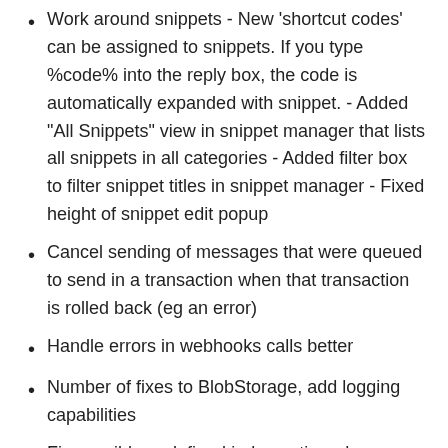Work around snippets - New 'shortcut codes' can be assigned to snippets. If you type %code% into the reply box, the code is automatically expanded with snippet. - Added "All Snippets" view in snippet manager that lists all snippets in all categories - Added filter box to filter snippet titles in snippet manager - Fixed height of snippet edit popup
Cancel sending of messages that were queued to send in a transaction when that transaction is rolled back (eg an error)
Handle errors in webhooks calls better
Number of fixes to BlobStorage, add logging capabilities
Fix possible undefined index notice when no tickets in a filter with grouping enabled
Fix a missing field from a query